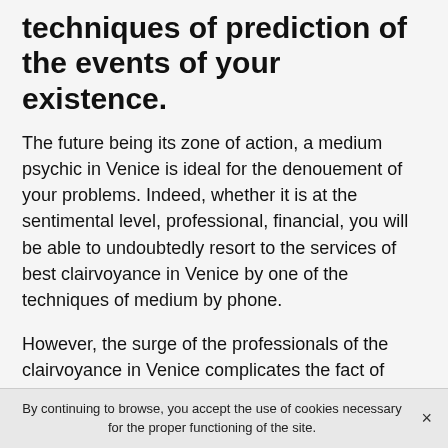techniques of prediction of the events of your existence.
The future being its zone of action, a medium psychic in Venice is ideal for the denouement of your problems. Indeed, whether it is at the sentimental level, professional, financial, you will be able to undoubtedly resort to the services of best clairvoyance in Venice by one of the techniques of medium by phone.
However, the surge of the professionals of the clairvoyance in Venice complicates the fact of finding a serene clairvoyance in Venice and endowed with a real gift of clairvoyance. In order to detect the qualities of the clairvoyant you have in front of you, the latter must be able to understand your situation without any difficulty. This comprehension being especially related to the fact that it is
By continuing to browse, you accept the use of cookies necessary for the proper functioning of the site.